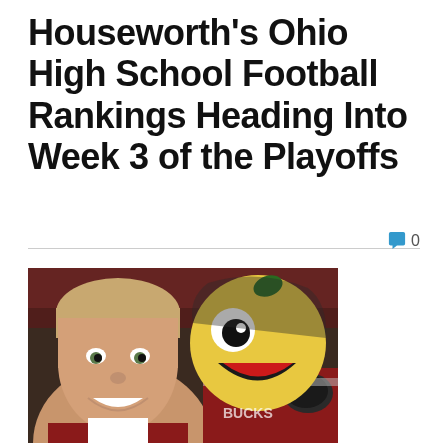Houseworth's Ohio High School Football Rankings Heading Into Week 3 of the Playoffs
[Figure (photo): A man smiling taking a selfie with Ohio State Buckeyes mascot Brutus Buckeye wearing red jersey, in stadium setting]